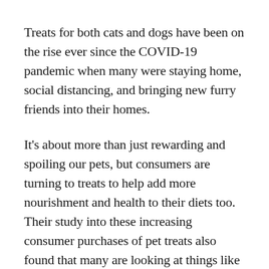Treats for both cats and dogs have been on the rise ever since the COVID-19 pandemic when many were staying home, social distancing, and bringing new furry friends into their homes.
It's about more than just rewarding and spoiling our pets, but consumers are turning to treats to help add more nourishment and health to their diets too. Their study into these increasing consumer purchases of pet treats also found that many are looking at things like plant-based formulas, environmental impacts, and even alternative proteins for their pets.